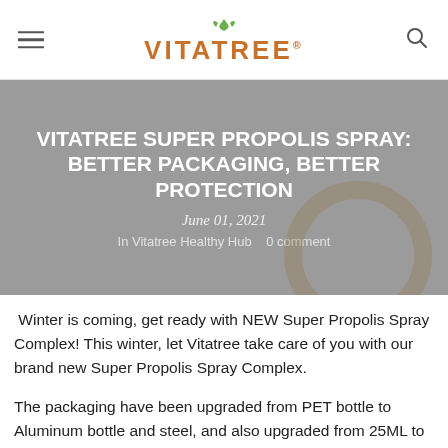VITATREE (logo with leaves icon and search icon)
VITATREE SUPER PROPOLIS SPRAY: BETTER PACKAGING, BETTER PROTECTION
June 01, 2021
In Vitatree Healthy Hub   0 comment
Winter is coming, get ready with NEW Super Propolis Spray Complex! This winter, let Vitatree take care of you with our brand new Super Propolis Spray Complex.
The packaging have been upgraded from PET bottle to Aluminum bottle and steel, and also upgraded from 25ML to 30ML BIGGER SIZE, EXTRA BENEFIT New Super